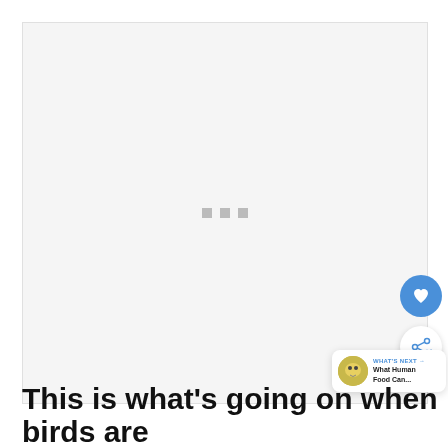[Figure (photo): Large image placeholder area with light gray background and three small gray loading dots centered in the middle, indicating an image is loading.]
[Figure (infographic): Heart favorite button (blue circle with white heart icon) and share button (white circle with blue share icon), plus a 'WHAT'S NEXT' card showing a bird thumbnail and text 'What Human Food Can...']
This is what's going on when birds are